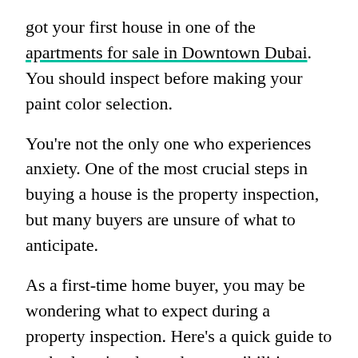got your first house in one of the apartments for sale in Downtown Dubai. You should inspect before making your paint color selection.
You're not the only one who experiences anxiety. One of the most crucial steps in buying a house is the property inspection, but many buyers are unsure of what to anticipate.
As a first-time home buyer, you may be wondering what to expect during a property inspection. Here's a quick guide to each player's roles and responsibilities:
The Inspector: The inspector is responsible for conducting a thorough examination of the property and preparing a report detailing their findings.
Despite some inspectors having previously worked as contractors, the inspector is not one. The inspector...